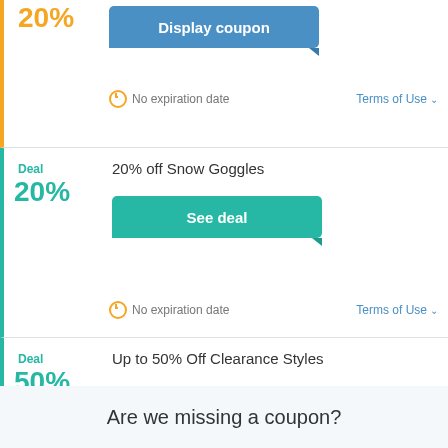20%
Display coupon
No expiration date
Terms of Use
Deal 20%
20% off Snow Goggles
See deal
No expiration date
Terms of Use
Deal 50%
Up to 50% Off Clearance Styles
See deal
Expires on 12/31/2022
Terms of Use
Are we missing a coupon?